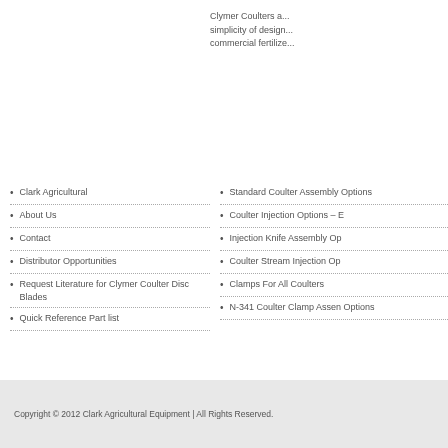Clymer Coulters are simplicity of design commercial fertilize
Clark Agricultural
About Us
Contact
Distributor Opportunities
Request Literature for Clymer Coulter Disc Blades
Quick Reference Part list
Standard Coulter Assembly Options
Coulter Injection Options – E
Injection Knife Assembly Op
Coulter Stream Injection Op
Clamps For All Coulters
N-341 Coulter Clamp Assembly Options
Copyright © 2012 Clark Agricultural Equipment | All Rights Reserved.